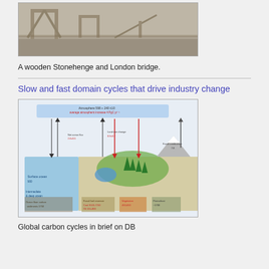[Figure (photo): Photograph of a wooden structure resembling Stonehenge and London bridge built indoors with wooden beams]
A wooden Stonehenge and London bridge.
Slow and fast domain cycles that drive industry change
[Figure (infographic): Global carbon cycle diagram (DBpedia) showing atmosphere, land, ocean, soil reservoirs and fluxes including fossil fuels, vegetation, marine biology, and geological carbon stocks with labeled arrows and values in PgC]
Global carbon cycles in brief on DB